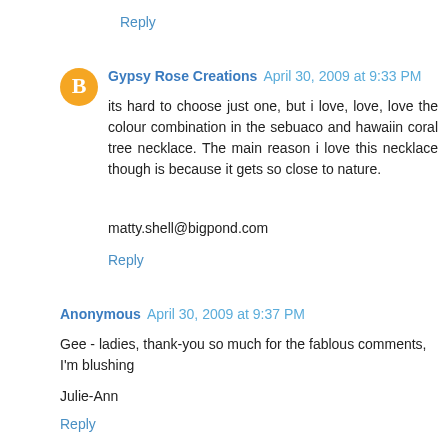Reply
Gypsy Rose Creations  April 30, 2009 at 9:33 PM
its hard to choose just one, but i love, love, love the colour combination in the sebuaco and hawaiin coral tree necklace. The main reason i love this necklace though is because it gets so close to nature.
matty.shell@bigpond.com
Reply
Anonymous  April 30, 2009 at 9:37 PM
Gee - ladies, thank-you so much for the fablous comments, I'm blushing
Julie-Ann
Reply